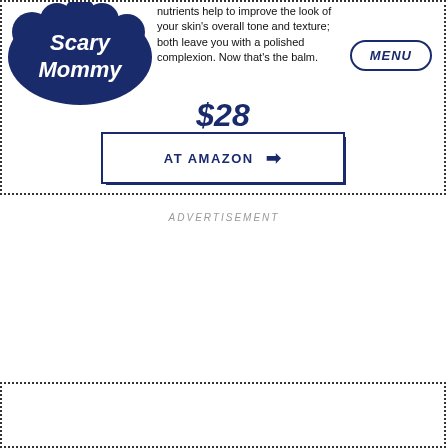Scary Mommy
nutrients help to improve the look of your skin's overall tone and texture; both leave you with a polished complexion. Now that's the balm.
$28
AT AMAZON →
ADVERTISEMENT
[Figure (photo): Cream/balm product tube in beige/tan color]